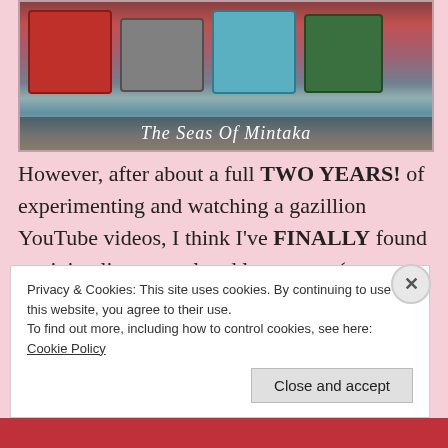[Figure (photo): Photo of colorful Radha Shyam soap/product boxes in red, gray, teal, and green, placed on a wooden surface. Overlaid text reads 'The Seas Of Mintaka'.]
However, after about a full TWO YEARS! of experimenting and watching a gazillion YouTube videos, I think I've FINALLY found a minimalist, natural and low-waste (not zero-waste, however) hair routine that works for me.
It's not the simplest, most minimalistic, most low-maintenance routine that's ever existed but then again
Privacy & Cookies: This site uses cookies. By continuing to use this website, you agree to their use.
To find out more, including how to control cookies, see here: Cookie Policy
Close and accept